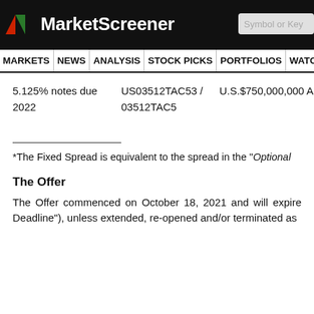MarketScreener — Symbol or Key
MARKETS NEWS ANALYSIS STOCK PICKS PORTFOLIOS WATCHLI
5.125% notes due 2022  US03512TAC53 / 03512TAC5  U.S.$750,000,000 August
*The Fixed Spread is equivalent to the spread in the "Optional
The Offer
The Offer commenced on October 18, 2021 and will expire Deadline"), unless extended, re-opened and/or terminated as